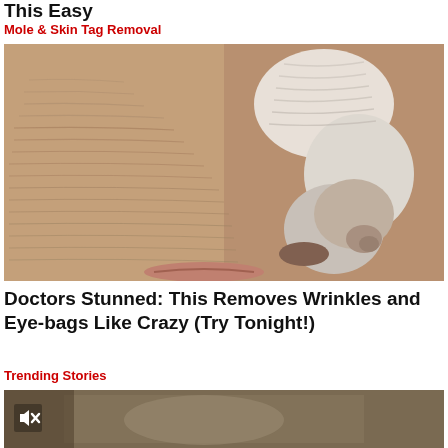This Easy
Mole & Skin Tag Removal
[Figure (photo): Close-up photo of elderly person's face showing heavily wrinkled skin with a white substance or mask applied, along with visible skin tags or moles near the nose/mouth area.]
Doctors Stunned: This Removes Wrinkles and Eye-bags Like Crazy (Try Tonight!)
Trending Stories
[Figure (photo): Partially visible photo at bottom of page showing a person, with a mute/speaker-off icon overlay in the bottom left corner.]